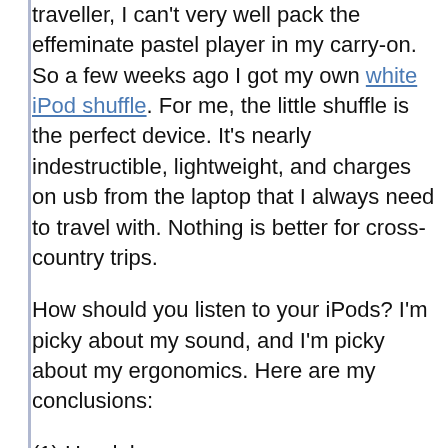traveller, I can't very well pack the effeminate pastel player in my carry-on. So a few weeks ago I got my own white iPod shuffle. For me, the little shuffle is the perfect device. It's nearly indestructible, lightweight, and charges on usb from the laptop that I always need to travel with. Nothing is better for cross-country trips.
How should you listen to your iPods? I'm picky about my sound, and I'm picky about my ergonomics. Here are my conclusions:
(1) Headphones.
For those long cross-country trips, toss the big, rigid in-ear headphones from Apple. Get the Sony MDR NX-1 neck-strap in-ear headphones. They sound better than Apple's, and they're very